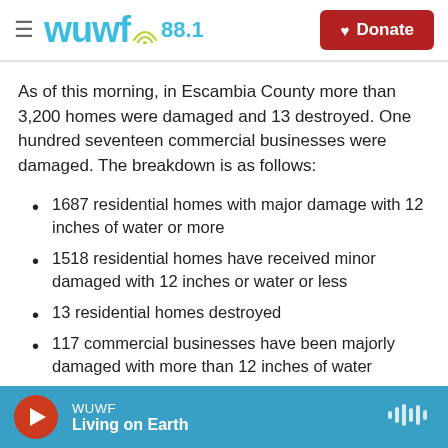WUWF 88.1 | Donate
As of this morning, in Escambia County more than 3,200 homes were damaged and 13 destroyed. One hundred seventeen commercial businesses were damaged. The breakdown is as follows:
1687 residential homes with major damage with 12 inches of water or more
1518 residential homes have received minor damaged with 12 inches or water or less
13 residential homes destroyed
117 commercial businesses have been majorly damaged with more than 12 inches of water
WUWF | Living on Earth